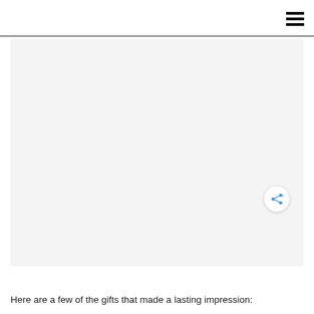[Figure (photo): Large light gray placeholder image area occupying most of the page, with a share/social button in the bottom right corner of the image.]
Here are a few of the gifts that made a lasting impression: